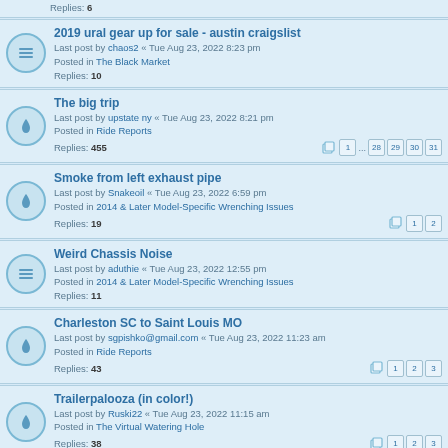Replies: 6
2019 ural gear up for sale - austin craigslist
Last post by chaos2 « Tue Aug 23, 2022 8:23 pm
Posted in The Black Market
Replies: 10
The big trip
Last post by upstate ny « Tue Aug 23, 2022 8:21 pm
Posted in Ride Reports
Replies: 455
Pages: 1 ... 28 29 30 31
Smoke from left exhaust pipe
Last post by Snakeoil « Tue Aug 23, 2022 6:59 pm
Posted in 2014 & Later Model-Specific Wrenching Issues
Replies: 19
Pages: 1 2
Weird Chassis Noise
Last post by aduthie « Tue Aug 23, 2022 12:55 pm
Posted in 2014 & Later Model-Specific Wrenching Issues
Replies: 11
Charleston SC to Saint Louis MO
Last post by sgpishko@gmail.com « Tue Aug 23, 2022 11:23 am
Posted in Ride Reports
Replies: 43
Pages: 1 2 3
Trailerpalooza (in color!)
Last post by Ruski22 « Tue Aug 23, 2022 11:15 am
Posted in The Virtual Watering Hole
Replies: 38
Pages: 1 2 3
What did you do to your Ural today?
Last post by Ruski22 « Tue Aug 23, 2022 11:11 am